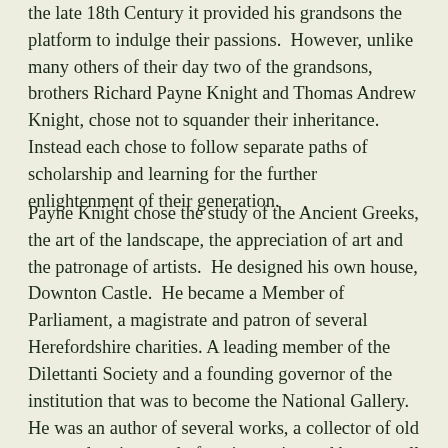the late 18th Century it provided his grandsons the platform to indulge their passions.  However, unlike many others of their day two of the grandsons, brothers Richard Payne Knight and Thomas Andrew Knight, chose not to squander their inheritance.  Instead each chose to follow separate paths of scholarship and learning for the further enlightenment of their generation.
Payne Knight chose the study of the Ancient Greeks, the art of the landscape, the appreciation of art and the patronage of artists.  He designed his own house, Downton Castle.  He became a Member of Parliament, a magistrate and patron of several Herefordshire charities. A leading member of the Dilettanti Society and a founding governor of the institution that was to become the National Gallery.  He was an author of several works, a collector of old master drawings and of ancient coins and bronzes all of which were to form a significant bequest, worth many millions, to the British Museum.  His reputation as a connoisseur was at times